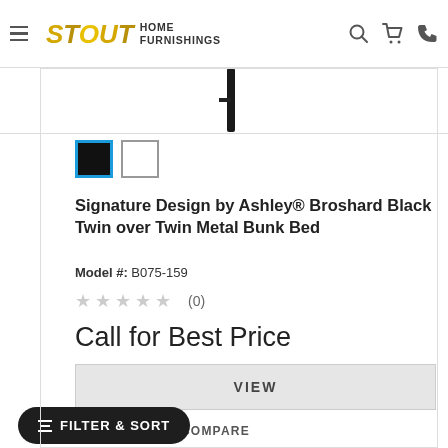Stout Home Furnishings — navigation bar with hamburger menu, logo, search, cart, and phone icons
[Figure (other): Partial product image showing a dark vertical metal bar/post of a bunk bed frame]
[Figure (other): Two color swatches: black (selected, blue border) and white]
Signature Design by Ashley® Broshard Black Twin over Twin Metal Bunk Bed
Model #: B075-159
★★★★★ (0)
Call for Best Price
VIEW
COMPARE
FILTER & SORT